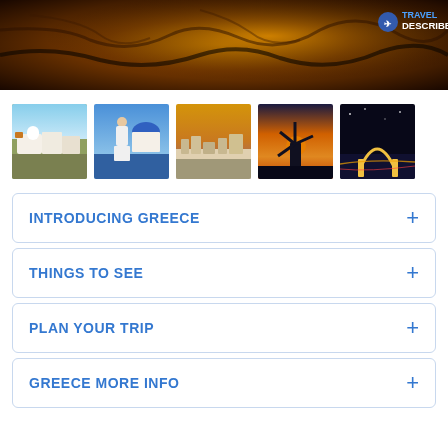[Figure (photo): Travel Describe website header banner showing a dramatic orange and brown landscape/sky panorama with the Travel Describe logo in the upper right corner]
[Figure (photo): Gallery of 5 thumbnail photos of Greece: white buildings of Santorini, woman in white dress with blue dome, Santorini cityscape, windmill at sunset, night city lights]
INTRODUCING GREECE
THINGS TO SEE
PLAN YOUR TRIP
GREECE MORE INFO